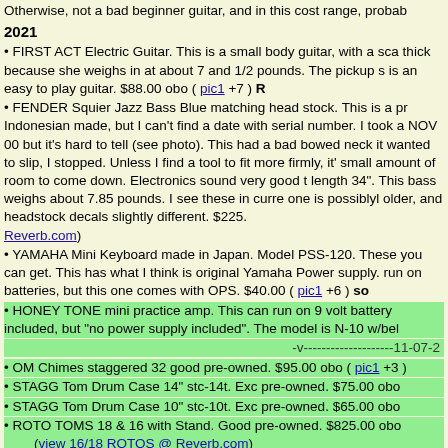Otherwise, not a bad beginner guitar, and in this cost range, probab
2021
FIRST ACT Electric Guitar. This is a small body guitar, with a sca thick because she weighs in at about 7 and 1/2 pounds. The pickup s is an easy to play guitar. $88.00 obo ( pic1 +7 ) R
FENDER Squier Jazz Bass Blue matching head stock. This is a pr Indonesian made, but I can't find a date with serial number. I took a NOV 00 but it's hard to tell (see photo). This had a bad bowed neck it wanted to slip, I stopped. Unless I find a tool to fit more firmly, it' small amount of room to come down. Electronics sound very good t length 34". This bass weighs about 7.85 pounds. I see these in curre one is possiblyl older, and headstock decals slightly different. $225. Reverb.com)
YAMAHA Mini Keyboard made in Japan. Model PSS-120. These you can get. This has what I think is original Yamaha Power supply. run on batteries, but this one comes with OPS. $40.00 ( pic1 +6 ) so
HONEY TONE mini practice amp. This can run on 9 volt battery included, but "no power supply included". The model is N-10 w/bel
-v--------------------11-07-2
OM Chimes staggered 32 good pre-owned. $95.00 obo ( pic1 +3 )
STAGG Tom Drum Case 14" stc-14t. Exc pre-owned. $75.00 obo
STAGG Tom Drum Case 10" stc-10t. Exc pre-owned. $65.00 obo
ROTO TOMS 18 & 16 with Stand. Good pre-owned. $825.00 obo (view 16/18 ROTOS @ Reverb.com)
ROTO TOMS 14 & 12 with Stand. Good pre-owned. $495.00 obo